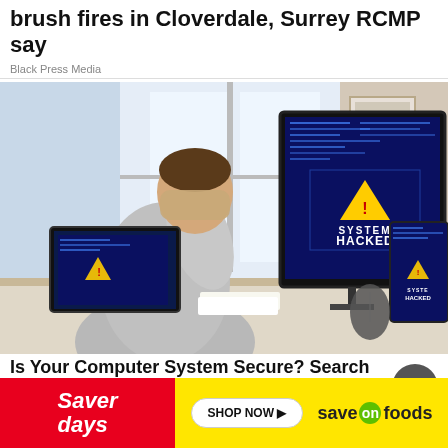brush fires in Cloverdale, Surrey RCMP say
Black Press Media
[Figure (photo): Person sitting at a desk with head in hands, looking distressed, with multiple computer monitors showing a 'SYSTEM HACKED' warning message with a yellow triangle caution symbol on blue background with code text]
Is Your Computer System Secure? Search For Business Security Systems
[Figure (infographic): Saver Days advertisement banner: red section with 'Saver days' text in italic white, yellow section with 'SHOP NOW' button and 'save on foods' logo]